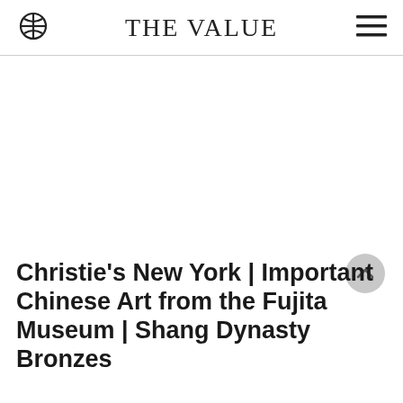THE VALUE
Christie's New York | Important Chinese Art from the Fujita Museum | Shang Dynasty Bronzes